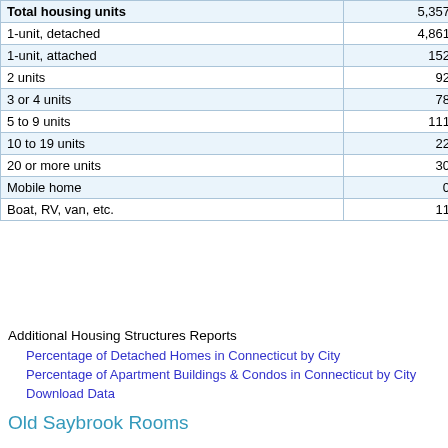|  |  |
| --- | --- |
| Total housing units | 5,357 |
| 1-unit, detached | 4,861 |
| 1-unit, attached | 152 |
| 2 units | 92 |
| 3 or 4 units | 78 |
| 5 to 9 units | 111 |
| 10 to 19 units | 22 |
| 20 or more units | 30 |
| Mobile home | 0 |
| Boat, RV, van, etc. | 11 |
Additional Housing Structures Reports
Percentage of Detached Homes in Connecticut by City
Percentage of Apartment Buildings & Condos in Connecticut by City
Download Data
Old Saybrook Rooms
[Figure (bar-chart): Old Saybrook Rooms]